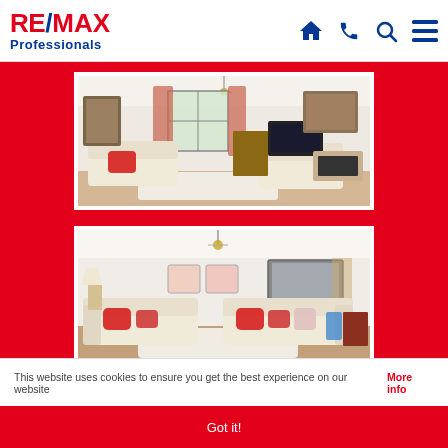RE/MAX Professionals
[Figure (photo): Interior room photo showing a living room with cream sofas with red cushions, floral curtains, chandelier, TV, and a large gilt-framed painting]
[Figure (photo): Interior room photo showing a living room with two cream sofas with red cushions, white walls with decorative pictures, wooden floor, and a white rug]
This website uses cookies to ensure you get the best experience on our website More info
Got it!